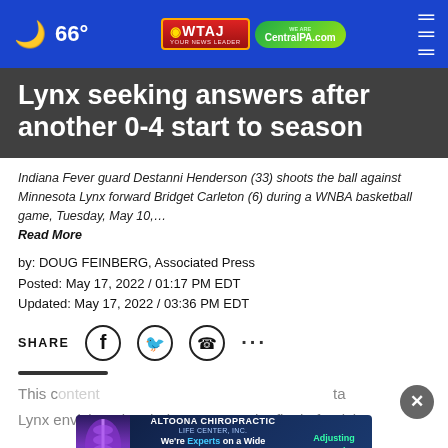66° WTAJ CentralPA.com
Lynx seeking answers after another 0-4 start to season
Indiana Fever guard Destanni Henderson (33) shoots the ball against Minnesota Lynx forward Bridget Carleton (6) during a WNBA basketball game, Tuesday, May 10,… Read More
by: DOUG FEINBERG, Associated Press
Posted: May 17, 2022 / 01:17 PM EDT
Updated: May 17, 2022 / 03:36 PM EDT
SHARE
This d... ta Lynx envisioned to their season — the final of Sylvia
[Figure (infographic): Altoona Chiropractic Life Center advertisement banner with spine image]